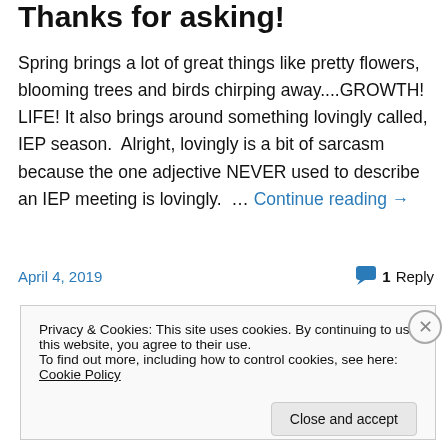Thanks for asking!
Spring brings a lot of great things like pretty flowers, blooming trees and birds chirping away....GROWTH! LIFE! It also brings around something lovingly called, IEP season. Alright, lovingly is a bit of sarcasm because the one adjective NEVER used to describe an IEP meeting is lovingly. … Continue reading →
April 4, 2019    1 Reply
Privacy & Cookies: This site uses cookies. By continuing to use this website, you agree to their use. To find out more, including how to control cookies, see here: Cookie Policy Close and accept